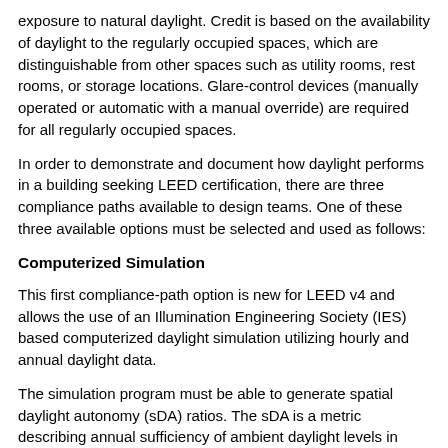exposure to natural daylight. Credit is based on the availability of daylight to the regularly occupied spaces, which are distinguishable from other spaces such as utility rooms, rest rooms, or storage locations. Glare-control devices (manually operated or automatic with a manual override) are required for all regularly occupied spaces.
In order to demonstrate and document how daylight performs in a building seeking LEED certification, there are three compliance paths available to design teams. One of these three available options must be selected and used as follows:
Computerized Simulation
This first compliance-path option is new for LEED v4 and allows the use of an Illumination Engineering Society (IES) based computerized daylight simulation utilizing hourly and annual daylight data.
The simulation program must be able to generate spatial daylight autonomy (sDA) ratios. The sDA is a metric describing annual sufficiency of ambient daylight levels in interior environments. It is